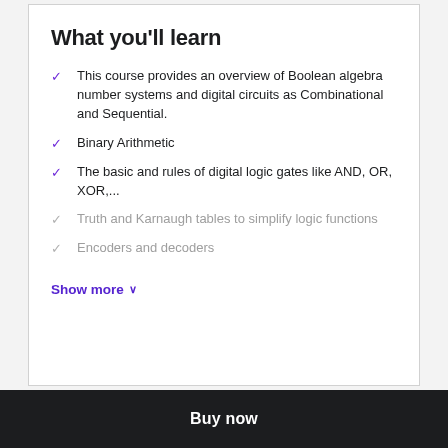What you'll learn
This course provides an overview of Boolean algebra number systems and digital circuits as Combinational and Sequential.
Binary Arithmetic
The basic and rules of digital logic gates like AND, OR, XOR,...
Truth and Karnaugh tables to simplify logic functions
Encoders and decoders
Show more ∨
Buy now